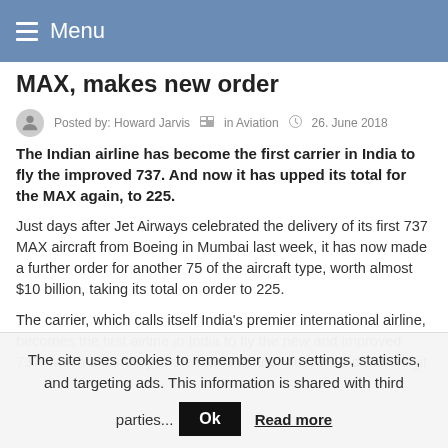Menu
MAX, makes new order
Posted by: Howard Jarvis  in Aviation  26. June 2018
The Indian airline has become the first carrier in India to fly the improved 737. And now it has upped its total for the MAX again, to 225.
Just days after Jet Airways celebrated the delivery of its first 737 MAX aircraft from Boeing in Mumbai last week, it has now made a further order for another 75 of the aircraft type, worth almost $10 billion, taking its total on order to 225.
The carrier, which calls itself India’s premier international airline, becomes the first airline in India to fly the new and improved 737, which according to the manufacturer delivers a double-digit
The site uses cookies to remember your settings, statistics, and targeting ads. This information is shared with third parties... Ok  Read more